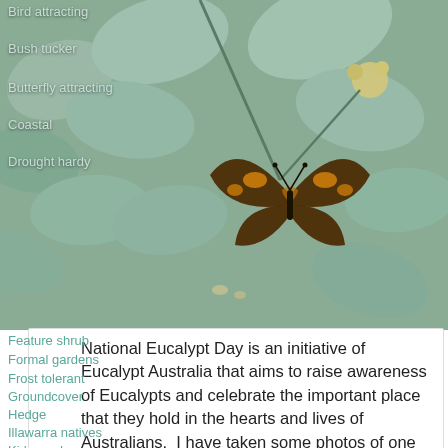[Figure (photo): Close-up photograph of eucalyptus leaves (blue-grey/green, rounded) with a butterfly (orange and black patterned) resting among the leaves and some white eucalyptus flowers. Menu items overlaid on left side.]
Bird attracting
Bush tucker
Butterfly attracting
Coastal
Drought hardy
Feature shrub
Formal gardens
Frost tolerant
Groundcover
Hedge
Illawarra natives
Kids gardens
Landscape Design
Medium Tree
National Eucalypt Day is an initiative of Eucalypt Australia that aims to raise awareness of Eucalypts and celebrate the important place that they hold in the hearts and lives of Australians.  I have taken some photos of one of my…
Read more ›
Bird attracting, Butterfly attracting, Coastal, Drought hardy, Feature shrub, Small garden, Small tree, Uncategorized
Autumn Flowering, bee attracting, eucalyptaus, Eucalyptus pulverulenta 'Baby Blue', EucBeaut, feature tree, foliage contrast, grey green leaves, Mallee Eucalyptus, NationalEucalyptDay, native insect attracting, pollination